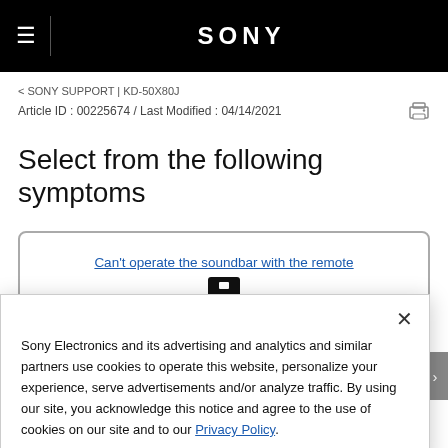SONY
< SONY SUPPORT | KD-50X80J
Article ID : 00225674 / Last Modified : 04/14/2021
Select from the following symptoms
Can't operate the soundbar with the remote
Sony Electronics and its advertising and analytics and similar partners use cookies to operate this website, personalize your experience, serve advertisements and/or analyze traffic. By using our site, you acknowledge this notice and agree to the use of cookies on our site and to our Privacy Policy.